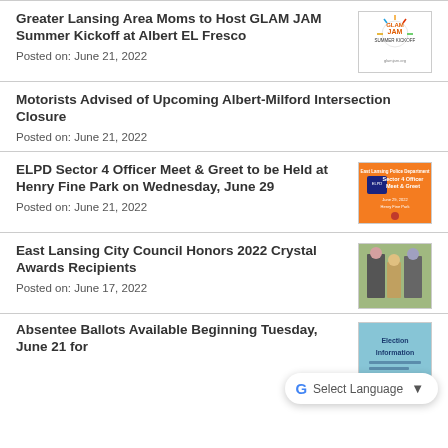Greater Lansing Area Moms to Host GLAM JAM Summer Kickoff at Albert EL Fresco
Posted on: June 21, 2022
[Figure (illustration): GLAM JAM Summer Kickoff event logo with colorful fireworks design]
Motorists Advised of Upcoming Albert-Milford Intersection Closure
Posted on: June 21, 2022
ELPD Sector 4 Officer Meet & Greet to be Held at Henry Fine Park on Wednesday, June 29
Posted on: June 21, 2022
[Figure (illustration): ELPD Sector 4 Officer Meet & Greet event flyer with orange background]
East Lansing City Council Honors 2022 Crystal Awards Recipients
Posted on: June 17, 2022
[Figure (photo): Photo of people at Crystal Awards ceremony]
Absentee Ballots Available Beginning Tuesday, June 21 for
[Figure (illustration): Election Information thumbnail with blue background]